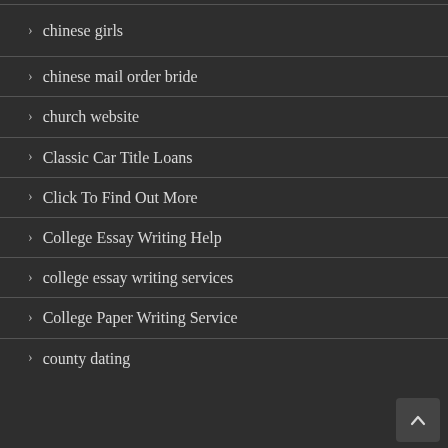chinese girls
chinese mail order bride
church website
Classic Car Title Loans
Click To Find Out More
College Essay Writing Help
college essay writing services
College Paper Writing Service
county dating